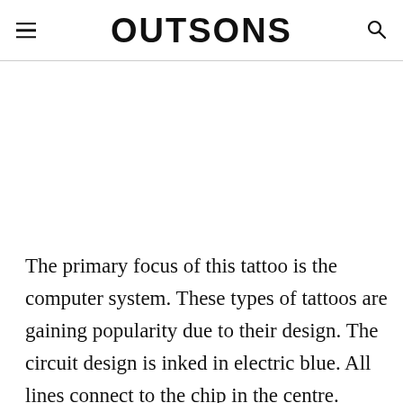OUTSONS
The primary focus of this tattoo is the computer system. These types of tattoos are gaining popularity due to their design. The circuit design is inked in electric blue. All lines connect to the chip in the centre. which has the binary code designed in black. This tattoo is simple and it has a hidden